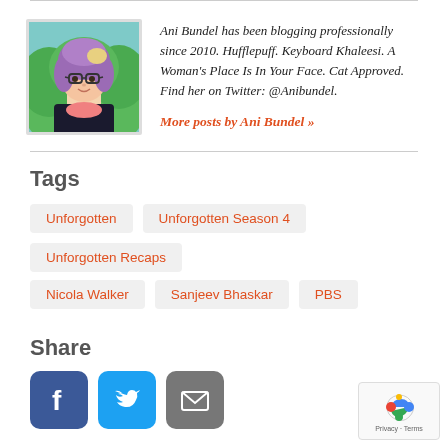[Figure (illustration): Cartoon illustration of a woman with purple hair, glasses, wearing a dark jacket with a pink scarf, in front of green foliage background]
Ani Bundel has been blogging professionally since 2010. Hufflepuff. Keyboard Khaleesi. A Woman's Place Is In Your Face. Cat Approved. Find her on Twitter: @Anibundel.
More posts by Ani Bundel »
Tags
Unforgotten
Unforgotten Season 4
Unforgotten Recaps
Nicola Walker
Sanjeev Bhaskar
PBS
Share
[Figure (logo): Facebook share button]
[Figure (logo): Twitter share button]
[Figure (logo): Email share button]